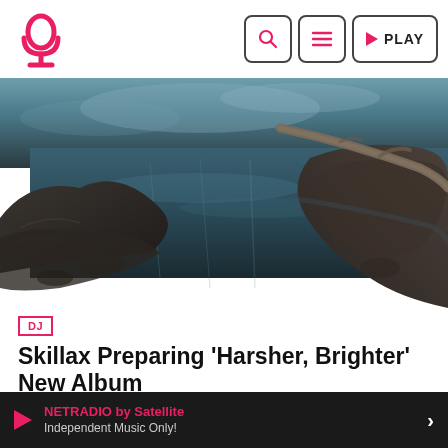DJ | Skillax Preparing 'Harsher, Brighter' New Album — NETRADIO by Satellite
[Figure (photo): Wide landscape photo of a calm lake or river with rocky shores and a fallen log extending over the water. Moody dark-teal tones with reflections in the water.]
DJ
Skillax Preparing 'Harsher, Brighter' New Album
The National have confirmed that they will start recording their next album "soon". The US band released their sixth album 'Trouble Will Find Me' in 2013, more recently showcasing new song 'Roma…
MARCH 19, 2020   14   2
NETRADIO by Satellite — Independent Music Only!